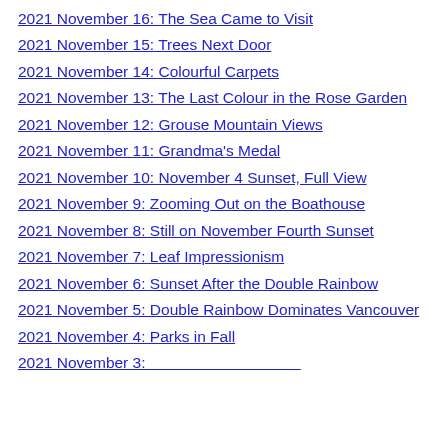2021 November 16: The Sea Came to Visit
2021 November 15: Trees Next Door
2021 November 14: Colourful Carpets
2021 November 13: The Last Colour in the Rose Garden
2021 November 12: Grouse Mountain Views
2021 November 11: Grandma's Medal
2021 November 10: November 4 Sunset, Full View
2021 November 9: Zooming Out on the Boathouse
2021 November 8: Still on November Fourth Sunset
2021 November 7: Leaf Impressionism
2021 November 6: Sunset After the Double Rainbow
2021 November 5: Double Rainbow Dominates Vancouver
2021 November 4: Parks in Fall
2021 November 3: ...